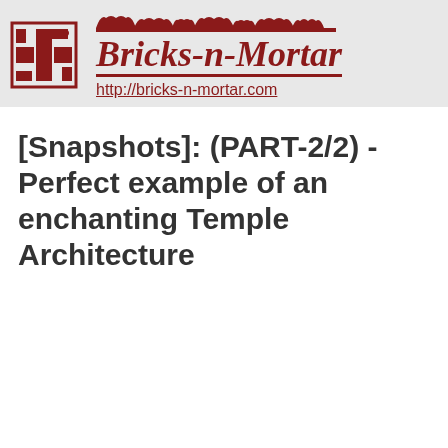[Figure (logo): Bricks-n-Mortar website header with swastika logo on left and decorative temple motif above bold italic site name 'Bricks-n-Mortar' with URL http://bricks-n-mortar.com below]
[Snapshots]: (PART-2/2) - Perfect example of an enchanting Temple Architecture